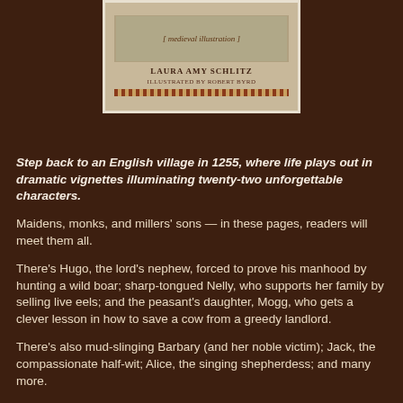[Figure (illustration): Book cover showing medieval illustration at top, with author name LAURA AMY SCHLITZ and ILLUSTRATED BY ROBERT BYRD, and a decorative border strip at the bottom.]
Step back to an English village in 1255, where life plays out in dramatic vignettes illuminating twenty-two unforgettable characters.
Maidens, monks, and millers' sons — in these pages, readers will meet them all.
There's Hugo, the lord's nephew, forced to prove his manhood by hunting a wild boar; sharp-tongued Nelly, who supports her family by selling live eels; and the peasant's daughter, Mogg, who gets a clever lesson in how to save a cow from a greedy landlord.
There's also mud-slinging Barbary (and her noble victim); Jack, the compassionate half-wit; Alice, the singing shepherdess; and many more.
With a deep appreciation for the medieval world and an affectionate...